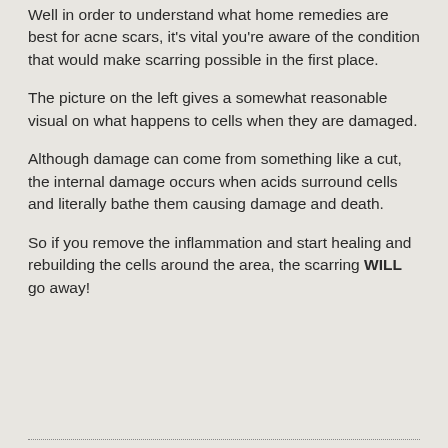Well in order to understand what home remedies are best for acne scars, it's vital you're aware of the condition that would make scarring possible in the first place.
The picture on the left gives a somewhat reasonable visual on what happens to cells when they are damaged.
Although damage can come from something like a cut, the internal damage occurs when acids surround cells and literally bathe them causing damage and death.
So if you remove the inflammation and start healing and rebuilding the cells around the area, the scarring WILL go away!